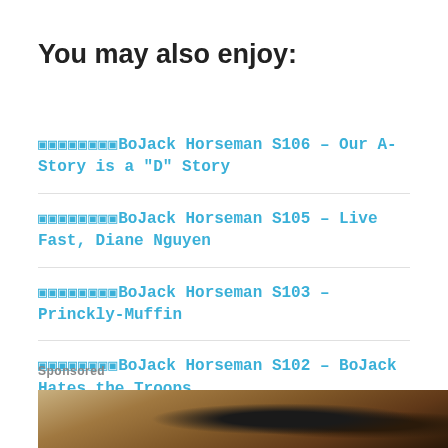You may also enjoy:
🔲🔲🔲🔲🔲🔲🔲🔲BoJack Horseman S106 – Our A-Story is a "D" Story
🔲🔲🔲🔲🔲🔲🔲🔲BoJack Horseman S105 – Live Fast, Diane Nguyen
🔲🔲🔲🔲🔲🔲🔲🔲BoJack Horseman S103 – Princkly-Muffin
🔲🔲🔲🔲🔲🔲🔲🔲BoJack Horseman S102 – BoJack Hates the Troops
Sponsored
[Figure (photo): Sponsored image strip showing a close-up of what appears to be a textured surface with a dark round object, in sandy/brown tones]